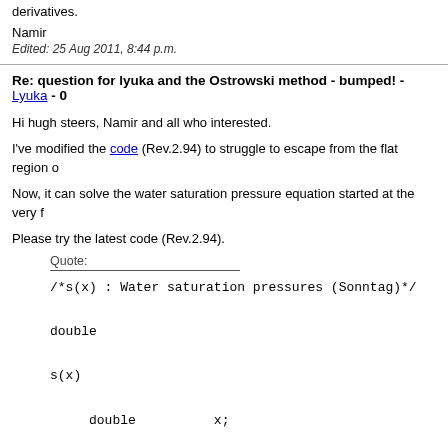derivatives.
Namir
Edited: 25 Aug 2011, 8:44 p.m.
Re: question for lyuka and the Ostrowski method - bumped! - Lyuka - 08...
Hi hugh steers, Namir and all who interested.
I've modified the code (Rev.2.94) to struggle to escape from the flat region o...
Now, it can solve the water saturation pressure equation started at the very f...
Please try the latest code (Rev.2.94).
Quote:
/*s(x) : Water saturation pressures (Sonntag)*/

double

s(x)

     double          x;

{

     double          t;